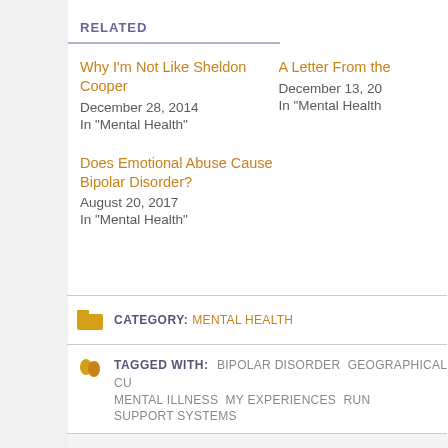RELATED
Why I'm Not Like Sheldon Cooper
December 28, 2014
In "Mental Health"
A Letter From the...
December 13, 20...
In "Mental Health"
Does Emotional Abuse Cause Bipolar Disorder?
August 20, 2017
In "Mental Health"
CATEGORY: MENTAL HEALTH
TAGGED WITH: BIPOLAR DISORDER GEOGRAPHICAL CU... MENTAL ILLNESS MY EXPERIENCES RUN... SUPPORT SYSTEMS
ON PAIN AND/OR SUFFERING